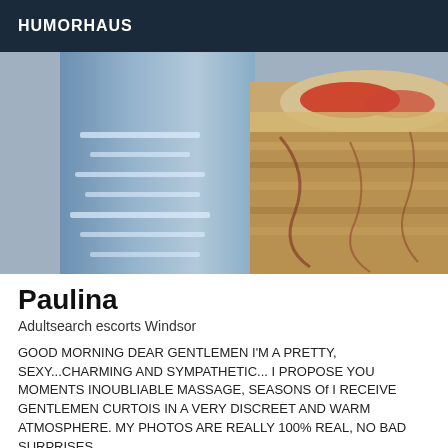HUMORHAUS
[Figure (photo): A photo showing person in ripped jeans next to what appears to be a large pizza or layered food item on a surface, close-up view.]
Paulina
Adultsearch escorts Windsor
GOOD MORNING DEAR GENTLEMEN I'M A PRETTY, SEXY...CHARMING AND SYMPATHETIC... I PROPOSE YOU MOMENTS INOUBLIABLE MASSAGE, SEASONS Of I RECEIVE GENTLEMEN CURTOIS IN A VERY DISCREET AND WARM ATMOSPHERE. MY PHOTOS ARE REALLY 100% REAL, NO BAD SURPRISES